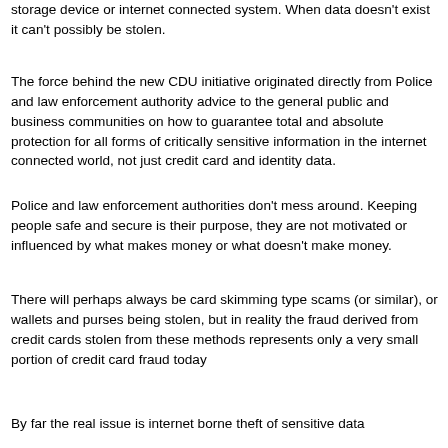storage device or internet connected system. When data doesn't exist it can't possibly be stolen.
The force behind the new CDU initiative originated directly from Police and law enforcement authority advice to the general public and business communities on how to guarantee total and absolute protection for all forms of critically sensitive information in the internet connected world, not just credit card and identity data.
Police and law enforcement authorities don't mess around. Keeping people safe and secure is their purpose, they are not motivated or influenced by what makes money or what doesn't make money.
There will perhaps always be card skimming type scams (or similar), or wallets and purses being stolen, but in reality the fraud derived from credit cards stolen from these methods represents only a very small portion of credit card fraud today
By far the real issue is internet borne theft of sensitive data